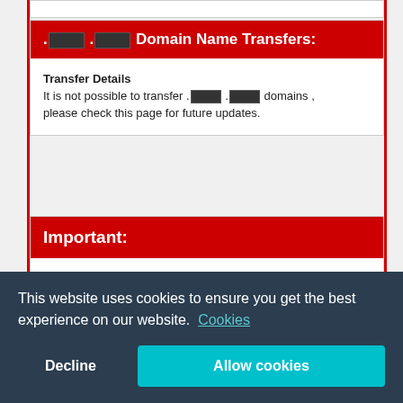.████ .████ Domain Name Transfers:
Transfer Details
It is not possible to transfer .████ .████ domains , please check this page for future updates.
Important:
Premium .████ .████ Domain Names
The .████ registry may list some names as a premium domain — meaning that it will...
This website uses cookies to ensure you get the best experience on our website. Cookies